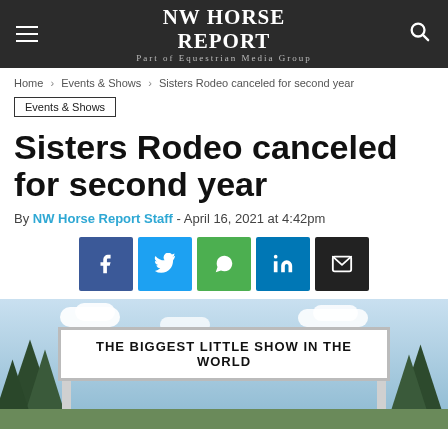NW HORSE REPORT
Part of Equestrian Media Group
Home › Events & Shows › Sisters Rodeo canceled for second year
Events & Shows
Sisters Rodeo canceled for second year
By NW Horse Report Staff - April 16, 2021 at 4:42pm
[Figure (other): Social share buttons: Facebook, Twitter, WhatsApp, LinkedIn, Email]
[Figure (photo): Outdoor photo of a large sign reading 'THE BIGGEST LITTLE SHOW IN THE WORLD' with trees and sky in background]